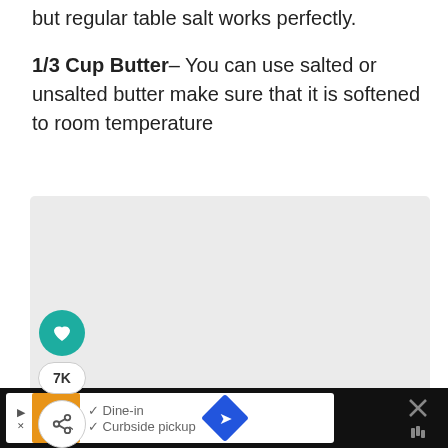but regular table salt works perfectly.
1/3 Cup Butter– You can use salted or unsalted butter make sure that it is softened to room temperature
[Figure (photo): Gray placeholder image box with three dots at the bottom indicating image carousel, social action buttons on the left side (heart/like button in teal, 7K count, share button)]
Dine-in  Curbside pickup  [advertisement bar]